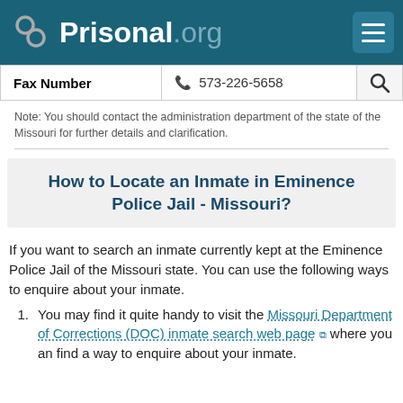Prisonal.org
| Fax Number | 573-226-5658 |
| --- | --- |
Note: You should contact the administration department of the state of the Missouri for further details and clarification.
How to Locate an Inmate in Eminence Police Jail - Missouri?
If you want to search an inmate currently kept at the Eminence Police Jail of the Missouri state. You can use the following ways to enquire about your inmate.
You may find it quite handy to visit the Missouri Department of Corrections (DOC) inmate search web page where you an find a way to enquire about your inmate.